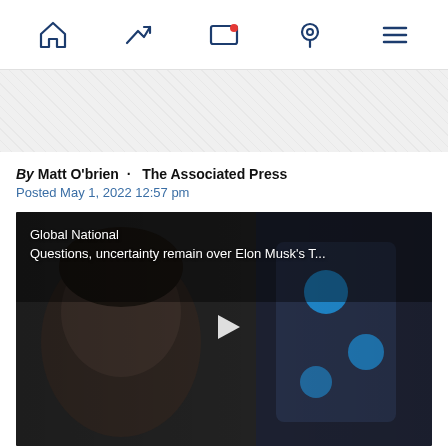Navigation bar with home, trending, screen-with-notification, location, and menu icons
[Figure (screenshot): Advertisement banner with diagonal stripe pattern]
By Matt O'brien · The Associated Press
Posted May 1, 2022 12:57 pm
[Figure (screenshot): Video thumbnail showing Elon Musk's face in dark lighting with a smartphone displaying Twitter logo visible. Overlay text reads: Global National / Questions, uncertainty remain over Elon Musk's T... A play button triangle is centered on the image.]